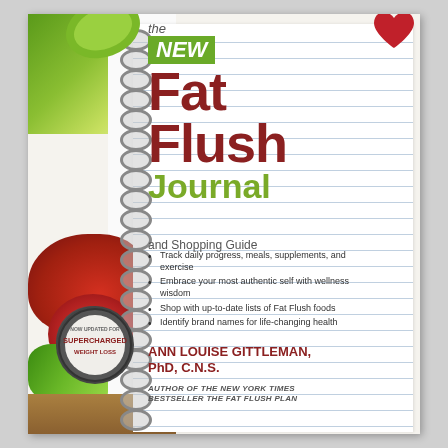[Figure (illustration): Book cover of 'The New Fat Flush Journal and Shopping Guide' by Ann Louise Gittleman, PhD, C.N.S. Shows a spiral-bound notebook with fresh vegetables (tomatoes, lettuce, herbs) on the left side, and title text on the right. A badge reads 'Now Updated for Supercharged Weight Loss'. A red heart graphic appears at top right.]
the NEW Fat Flush Journal and Shopping Guide
Track daily progress, meals, supplements, and exercise
Embrace your most authentic self with wellness wisdom
Shop with up-to-date lists of Fat Flush foods
Identify brand names for life-changing health
ANN LOUISE GITTLEMAN, PhD, C.N.S.
AUTHOR OF THE NEW YORK TIMES BESTSELLER THE FAT FLUSH PLAN